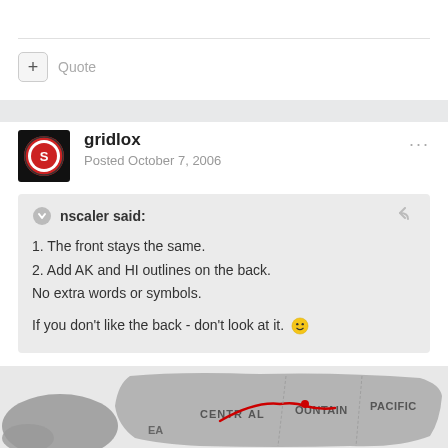+ Quote
gridlox
Posted October 7, 2006
nscaler said:
1. The front stays the same.
2. Add AK and HI outlines on the back.
No extra words or symbols.

If you don't like the back - don't look at it. 😄
[Figure (map): Partial map of United States showing timezone regions: CENTRAL, MOUNTAIN, PACIFIC with a red route line drawn across the map.]